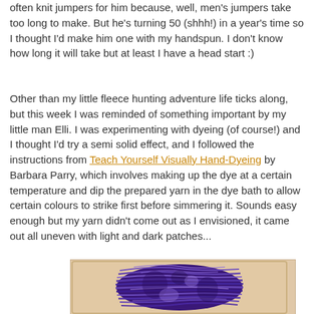often knit jumpers for him because, well, men's jumpers take too long to make. But he's turning 50 (shhh!) in a year's time so I thought I'd make him one with my handspun. I don't know how long it will take but at least I have a head start :)
Other than my little fleece hunting adventure life ticks along, but this week I was reminded of something important by my little man Elli. I was experimenting with dyeing (of course!) and I thought I'd try a semi solid effect, and I followed the instructions from Teach Yourself Visually Hand-Dyeing by Barbara Parry, which involves making up the dye at a certain temperature and dip the prepared yarn in the dye bath to allow certain colours to strike first before simmering it. Sounds easy enough but my yarn didn't come out as I envisioned, it came out all uneven with light and dark patches...
[Figure (photo): A hank of purple/violet dyed yarn laid in a plastic container or tray, showing uneven dyeing with light and dark patches visible in the yarn.]